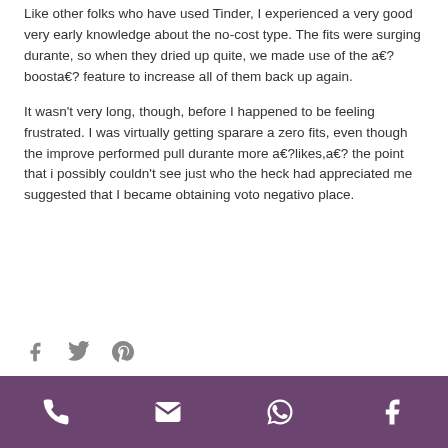Like other folks who have used Tinder, I experienced a very good very early knowledge about the no-cost type. The fits were surging durante, so when they dried up quite, we made use of the a€?boosta€? feature to increase all of them back up again.
It wasn't very long, though, before I happened to be feeling frustrated. I was virtually getting sparare a zero fits, even though the improve performed pull durante more a€?likes,a€? the point that i possibly couldn't see just who the heck had appreciated me suggested that I became obtaining voto negativo place.
[Figure (other): Social share icons: Facebook, Twitter, Pinterest]
Footer bar with phone, email, WhatsApp, Facebook icons